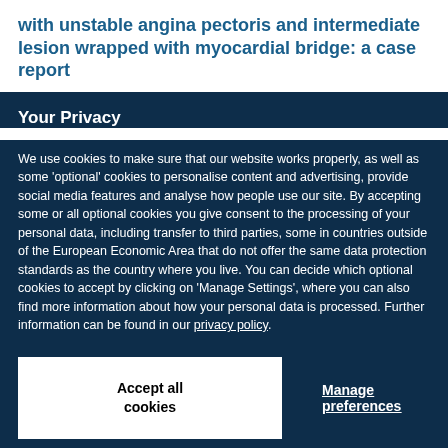with unstable angina pectoris and intermediate lesion wrapped with myocardial bridge: a case report
Your Privacy
We use cookies to make sure that our website works properly, as well as some 'optional' cookies to personalise content and advertising, provide social media features and analyse how people use our site. By accepting some or all optional cookies you give consent to the processing of your personal data, including transfer to third parties, some in countries outside of the European Economic Area that do not offer the same data protection standards as the country where you live. You can decide which optional cookies to accept by clicking on 'Manage Settings', where you can also find more information about how your personal data is processed. Further information can be found in our privacy policy.
Accept all cookies
Manage preferences